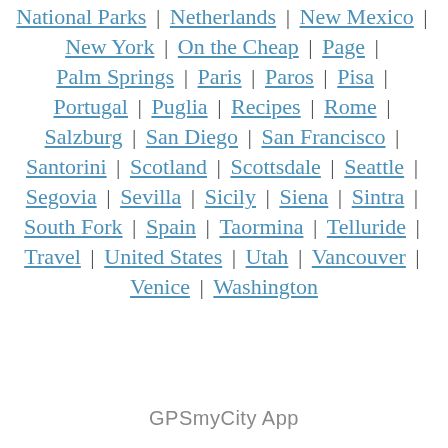National Parks | Netherlands | New Mexico | New York | On the Cheap | Page | Palm Springs | Paris | Paros | Pisa | Portugal | Puglia | Recipes | Rome | Salzburg | San Diego | San Francisco | Santorini | Scotland | Scottsdale | Seattle | Segovia | Sevilla | Sicily | Siena | Sintra | South Fork | Spain | Taormina | Telluride | Travel | United States | Utah | Vancouver | Venice | Washington
GPSmyCity App